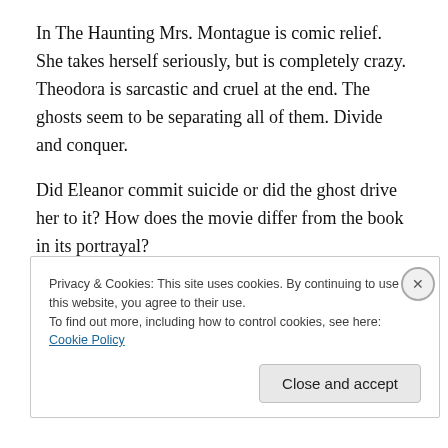In The Haunting Mrs. Montague is comic relief. She takes herself seriously, but is completely crazy. Theodora is sarcastic and cruel at the end. The ghosts seem to be separating all of them. Divide and conquer.
Did Eleanor commit suicide or did the ghost drive her to it? How does the movie differ from the book in its portrayal?
Privacy & Cookies: This site uses cookies. By continuing to use this website, you agree to their use.
To find out more, including how to control cookies, see here: Cookie Policy